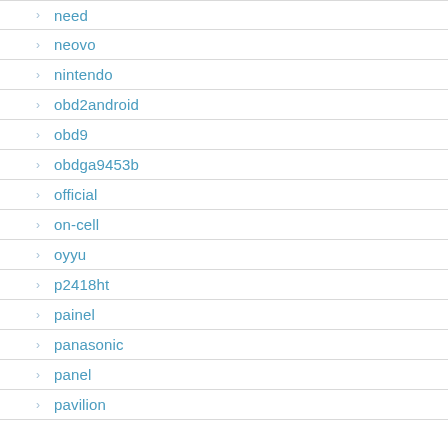need
neovo
nintendo
obd2android
obd9
obdga9453b
official
on-cell
oyyu
p2418ht
painel
panasonic
panel
pavilion